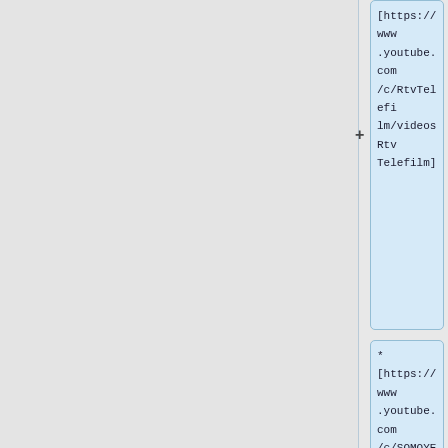[https://www.youtube.com/c/RtvTelefilm/videos Rtv Telefilm]
* [https://www.youtube.com/c/SOMOYENTERTAINMENT/ Somoy Entertainment]
* [https://www.youtube.com/channel/UC-MxP5JHqHDhIYzryBdPkUA